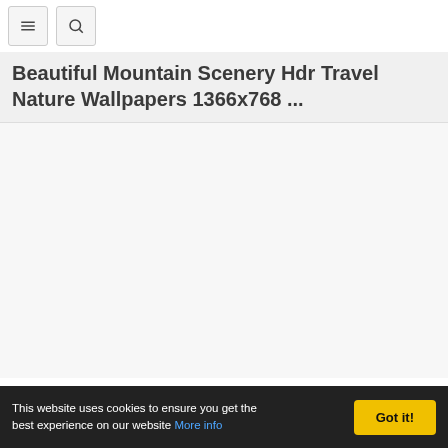Navigation bar with menu and search icons
Beautiful Mountain Scenery Hdr Travel Nature Wallpapers 1366x768 ...
[Figure (other): Large white/light grey empty content area placeholder for main page image content]
This website uses cookies to ensure you get the best experience on our website More info Got it!